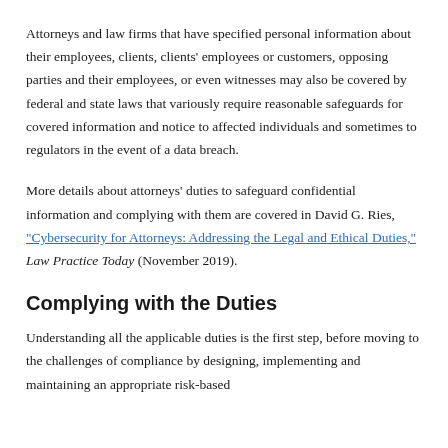Attorneys and law firms that have specified personal information about their employees, clients, clients' employees or customers, opposing parties and their employees, or even witnesses may also be covered by federal and state laws that variously require reasonable safeguards for covered information and notice to affected individuals and sometimes to regulators in the event of a data breach.
More details about attorneys' duties to safeguard confidential information and complying with them are covered in David G. Ries, "Cybersecurity for Attorneys: Addressing the Legal and Ethical Duties," Law Practice Today (November 2019).
Complying with the Duties
Understanding all the applicable duties is the first step, before moving to the challenges of compliance by designing, implementing and maintaining an appropriate risk-based